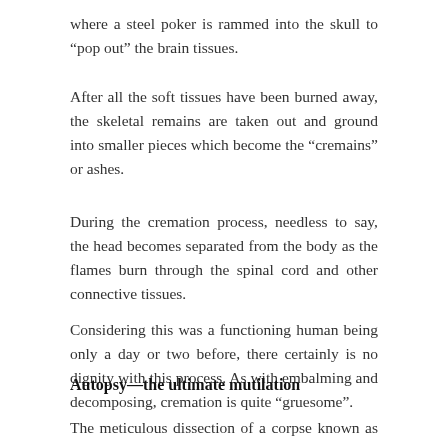where a steel poker is rammed into the skull to “pop out” the brain tissues.
After all the soft tissues have been burned away, the skeletal remains are taken out and ground into smaller pieces which become the “cremains” or ashes.
During the cremation process, needless to say, the head becomes separated from the body as the flames burn through the spinal cord and other connective tissues.
Considering this was a functioning human being only a day or two before, there certainly is no dignity with this process. As with embalming and decomposing, cremation is quite “gruesome”.
Autopsy—the ultimate mutilation
The meticulous dissection of a corpse known as an